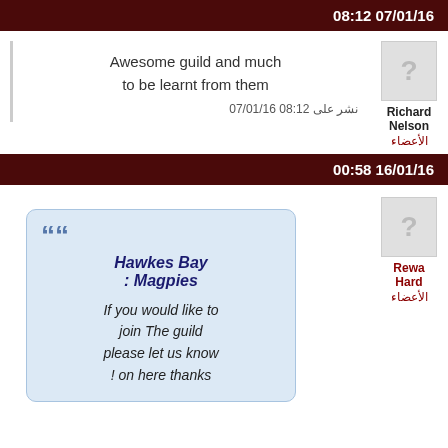08:12 07/01/16
Awesome guild and much to be learnt from them
نشر على 08:12 07/01/16
Richard Nelson الأعضاء
00:58 16/01/16
Hawkes Bay : Magpies
If you would like to join The guild please let us know on here thanks!
Rewa Hard الأعضاء